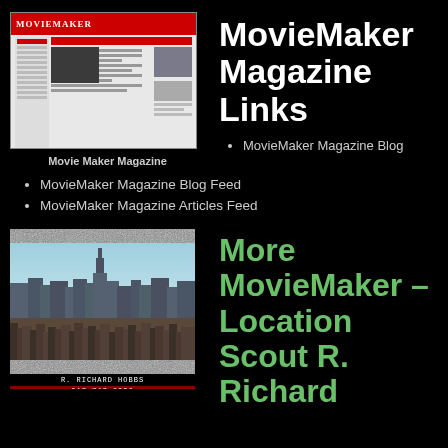[Figure (screenshot): MovieMaker Magazine website screenshot showing the Locations section with red header and article content]
Movie Maker Magazine
MovieMaker Magazine Links
MovieMaker Magazine Blog
MovieMaker Magazine Blog Feed
MovieMaker Magazine Articles Feed
[Figure (photo): Aerial view of New York City skyline with static/noise overlay and text overlay reading R. RICHARD HOBBS, 917.747.0836, NYC.LOCATIONSCOUT.US]
More MovieMaker – Location Scout R. Richard